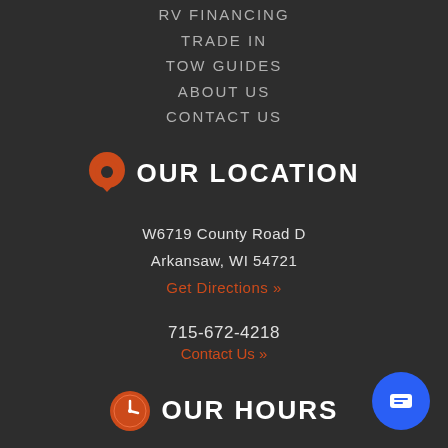RV FINANCING
TRADE IN
TOW GUIDES
ABOUT US
CONTACT US
OUR LOCATION
W6719 County Road D
Arkansaw, WI 54721
Get Directions »
715-672-4218
Contact Us »
OUR HOURS
SALES & PARTS
Mon-Thurs: 8am-6pm